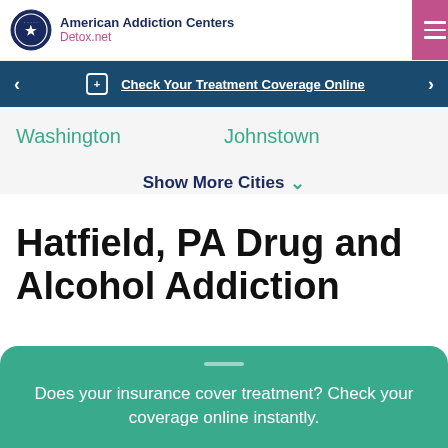American Addiction Centers Detox.net
Check Your Treatment Coverage Online
Washington   Johnstown
Show More Cities
Hatfield, PA Drug and Alcohol Addiction
Does your insurance cover treatment? Check your coverage online instantly.